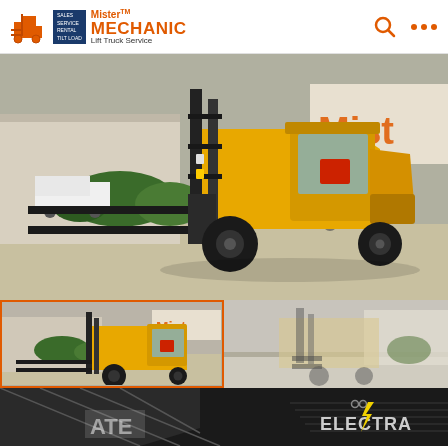[Figure (logo): Mister Mechanic Lift Truck Service logo with forklift icon and orange text]
[Figure (photo): Large yellow forklift with enclosed cab parked in front of Mister Mechanic building, side view]
[Figure (photo): Small thumbnail of same yellow forklift, front-left angle, selected with orange border]
[Figure (photo): Small thumbnail of forklift viewed from behind/right side, faded appearance]
[Figure (logo): Electra logo in bottom right of page strip with lightning bolt]